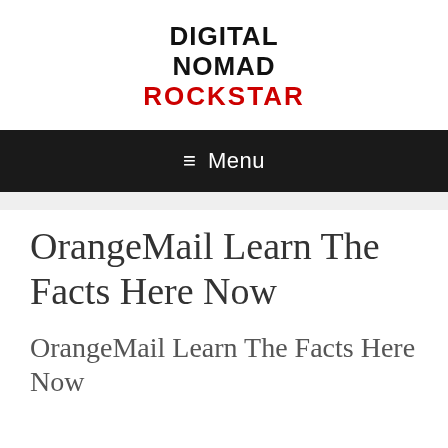DIGITAL NOMAD ROCKSTAR
☰ Menu
OrangeMail Learn The Facts Here Now
OrangeMail Learn The Facts Here Now